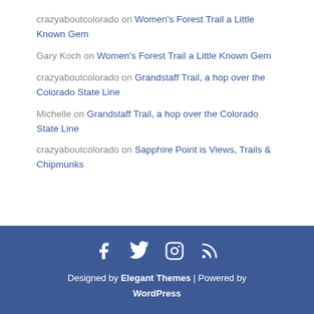crazyaboutcolorado on Women's Forest Trail a Little Known Gem
Gary Koch on Women's Forest Trail a Little Known Gem
crazyaboutcolorado on Grandstaff Trail, a hop over the Colorado State Line
Michelle on Grandstaff Trail, a hop over the Colorado State Line
crazyaboutcolorado on Sapphire Point is Views, Trails & Chipmunks
Designed by Elegant Themes | Powered by WordPress